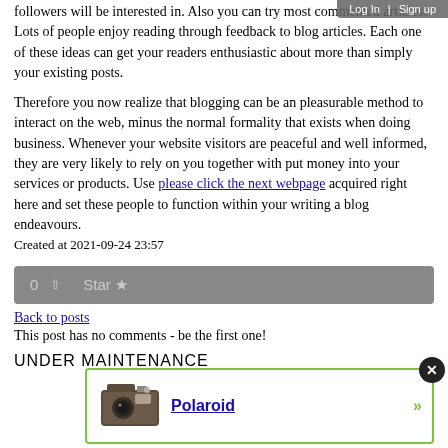followers will be interested in. Also you can try most commented articles. Lots of people enjoy reading through feedback to blog articles. Each one of these ideas can get your readers enthusiastic about more than simply your existing posts.
Therefore you now realize that blogging can be an pleasurable method to interact on the web, minus the normal formality that exists when doing business. Whenever your website visitors are peaceful and well informed, they are very likely to rely on you together with put money into your services or products. Use please click the next webpage acquired right here and set these people to function within your writing a blog endeavours.
Created at 2021-09-24 23:57
[Figure (other): Vote bar showing 0 upvotes and a Star button on a gray background]
Back to posts
This post has no comments - be the first one!
UNDER MAINTENANCE
[Figure (photo): Advertisement box with a Polaroid camera image and a link labeled Polaroid, with a close button and green arrow]